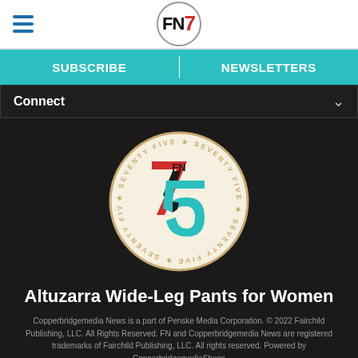[Figure (logo): FN7 logo in top navigation bar — bold black FN with red 7 inside a circle border]
SUBSCRIBE | NEWSLETTERS
Connect
[Figure (logo): FN 75th anniversary circular badge logo — white circle with gold border text reading SEVENTY FIVE repeating around ring, large stylized 75 in red, black and teal in center with small FN above]
Altuzarra Wide-Leg Pants for Women
Copperbridgemedia News is a part of Penske Media Corporation. © 2022 Fairchild Publishing, LLC. All Rights Reserved. FN and Copperbridgemedia News are registered trademarks of Fairchild Publishing, LLC. All rights reserved. Powered by CopperbridgemediaShops